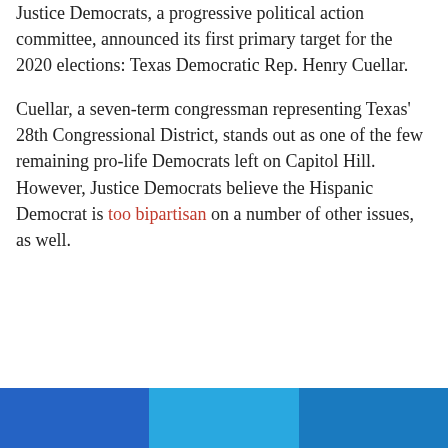Justice Democrats, a progressive political action committee, announced its first primary target for the 2020 elections: Texas Democratic Rep. Henry Cuellar.
Cuellar, a seven-term congressman representing Texas' 28th Congressional District, stands out as one of the few remaining pro-life Democrats left on Capitol Hill. However, Justice Democrats believe the Hispanic Democrat is too bipartisan on a number of other issues, as well.
[Figure (other): Footer bar with three colored segments: blue, light blue, and dark blue]